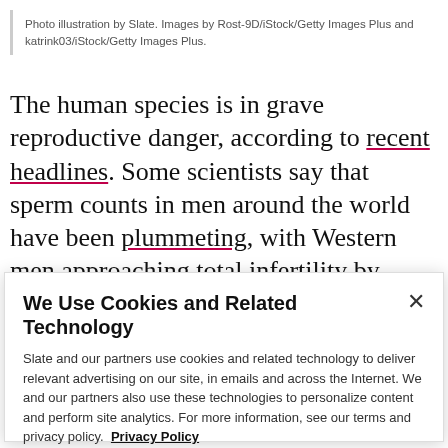Photo illustration by Slate. Images by Rost-9D/iStock/Getty Images Plus and katrink03/iStock/Getty Images Plus.
The human species is in grave reproductive danger, according to recent headlines. Some scientists say that sperm counts in men around the world have been plummeting, with Western men approaching total infertility by 2045. Far-right “Great Replacement” theorists, who fear that people of color are “replacing”
We Use Cookies and Related Technology

Slate and our partners use cookies and related technology to deliver relevant advertising on our site, in emails and across the Internet. We and our partners also use these technologies to personalize content and perform site analytics. For more information, see our terms and privacy policy. Privacy Policy

OK